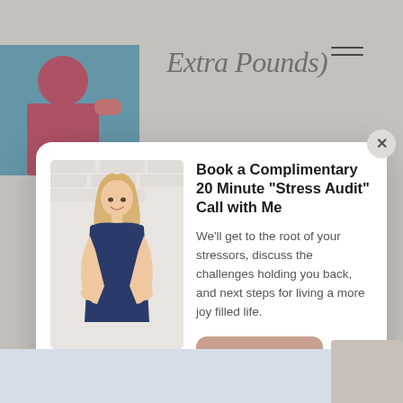[Figure (photo): Partial view of a woman in a pink top against a blue background, cropped at top-left]
Extra Pounds)
[Figure (screenshot): Modal popup with close button, photo of blonde woman in navy dress, heading 'Book a Complimentary 20 Minute "Stress Audit" Call with Me', descriptive text, and Schedule Now button]
Book a Complimentary 20 Minute "Stress Audit" Call with Me
We'll get to the root of your stressors, discuss the challenges holding you back, and next steps for living a more joy filled life.
Schedule Now